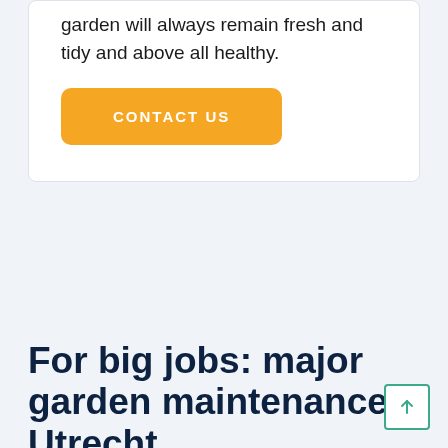garden will always remain fresh and tidy and above all healthy.
CONTACT US
For big jobs: major garden maintenance Utrecht
Do you maintain the garden yourself, but do you need help or advice with the larger jobs such as